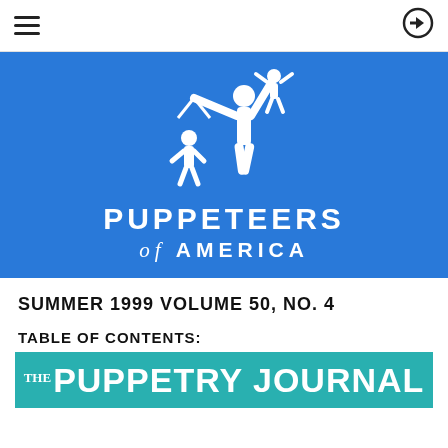☰  ➡
[Figure (logo): Puppeteers of America logo: white silhouette of a puppeteer holding a marionette above their head with a child puppet figure, on a blue background, with text PUPPETEERS of AMERICA]
SUMMER 1999 VOLUME 50, NO. 4
TABLE OF CONTENTS:
[Figure (logo): The Puppetry Journal banner in teal/cyan background with white text]